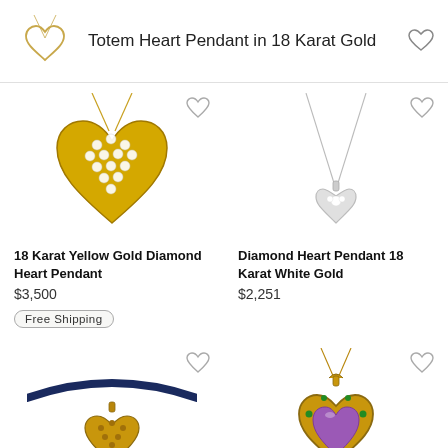Totem Heart Pendant in 18 Karat Gold
[Figure (photo): 18 Karat Yellow Gold Diamond Heart Pendant product image]
18 Karat Yellow Gold Diamond Heart Pendant
$3,500
Free Shipping
[Figure (photo): Diamond Heart Pendant 18 Karat White Gold product image]
Diamond Heart Pendant 18 Karat White Gold
$2,251
[Figure (photo): Gold heart pendant on dark blue cord - bottom left]
[Figure (photo): Amethyst heart pendant in gold with green accents - bottom right]